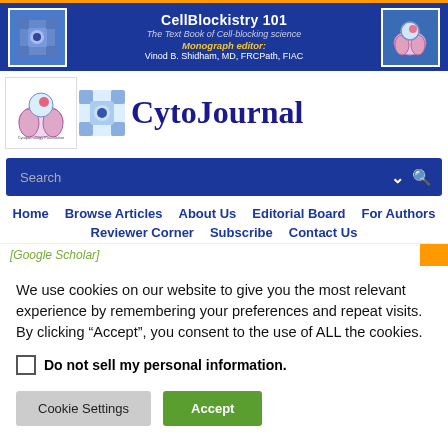[Figure (screenshot): CellBlockistry 101 banner with blue background, textbook title, monograph editor info, and logos on left and right]
[Figure (logo): CytoJournal logo with cytopathology foundation icon and grid icon beside the CytoJournal text]
Search
Home   Browse Articles   About Us   Editorial Board   For Authors   Reviewer Corner   Subscribe   Contact Us
[Google Scholar]
We use cookies on our website to give you the most relevant experience by remembering your preferences and repeat visits. By clicking “Accept”, you consent to the use of ALL the cookies.
Do not sell my personal information
Cookie Settings
Accept